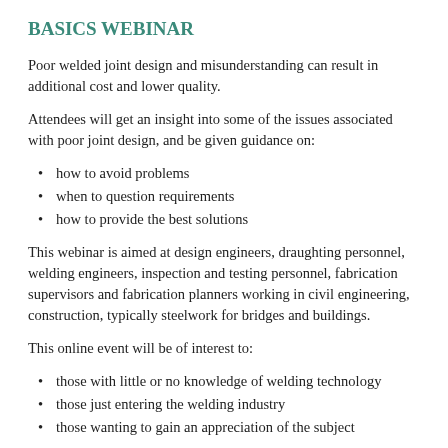BASICS WEBINAR
Poor welded joint design and misunderstanding can result in additional cost and lower quality.
Attendees will get an insight into some of the issues associated with poor joint design, and be given guidance on:
how to avoid problems
when to question requirements
how to provide the best solutions
This webinar is aimed at design engineers, draughting personnel, welding engineers, inspection and testing personnel, fabrication supervisors and fabrication planners working in civil engineering, construction, typically steelwork for bridges and buildings.
This online event will be of interest to:
those with little or no knowledge of welding technology
those just entering the welding industry
those wanting to gain an appreciation of the subject